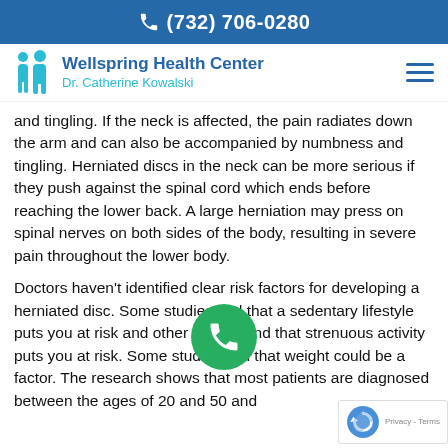(732) 706-0280
[Figure (logo): Wellspring Health Center logo with Dr. Catherine Kowalski name and teal human figure icons]
and tingling. If the neck is affected, the pain radiates down the arm and can also be accompanied by numbness and tingling. Herniated discs in the neck can be more serious if they push against the spinal cord which ends before reaching the lower back. A large herniation may press on spinal nerves on both sides of the body, resulting in severe pain throughout the lower body.
Doctors haven't identified clear risk factors for developing a herniated disc. Some studies find that a sedentary lifestyle puts you at risk and other studies find that strenuous activity puts you at risk. Some studies find that weight could be a factor. The research shows that most patients are diagnosed between the ages of 20 and 50 and